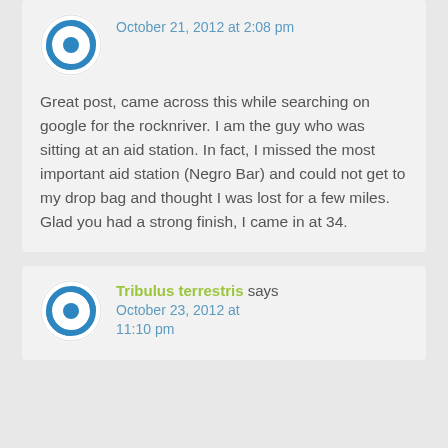October 21, 2012 at 2:08 pm
Great post, came across this while searching on google for the rocknriver. I am the guy who was sitting at an aid station. In fact, I missed the most important aid station (Negro Bar) and could not get to my drop bag and thought I was lost for a few miles. Glad you had a strong finish, I came in at 34.
Tribulus terrestris says
October 23, 2012 at 11:10 pm